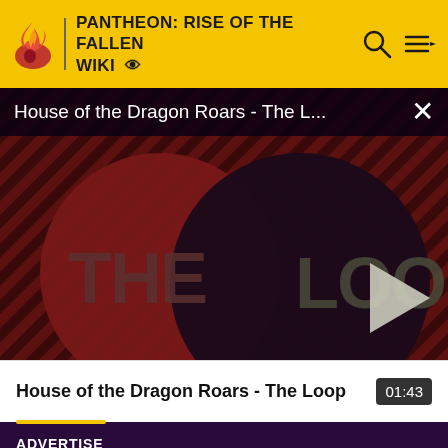PANTHEON: RISE OF THE FALLEN WIKI
House of the Dragon Roars - The L...
[Figure (screenshot): Video thumbnail showing 'THE LOOP' title with play button in center on dark red diagonal striped background]
House of the Dragon Roars - The Loop  01:43
ADVERTISE
Media Kit